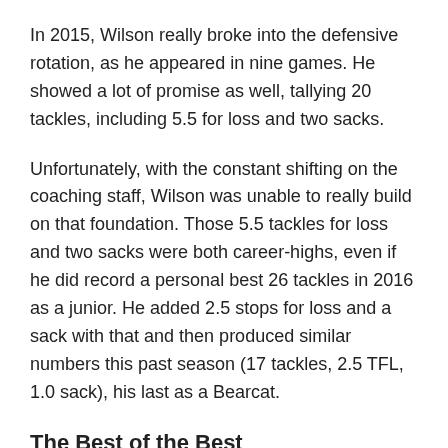In 2015, Wilson really broke into the defensive rotation, as he appeared in nine games. He showed a lot of promise as well, tallying 20 tackles, including 5.5 for loss and two sacks.
Unfortunately, with the constant shifting on the coaching staff, Wilson was unable to really build on that foundation. Those 5.5 tackles for loss and two sacks were both career-highs, even if he did record a personal best 26 tackles in 2016 as a junior. He added 2.5 stops for loss and a sack with that and then produced similar numbers this past season (17 tackles, 2.5 TFL, 1.0 sack), his last as a Bearcat.
The Best of the Best
Oct. 18, 2014 at SMU